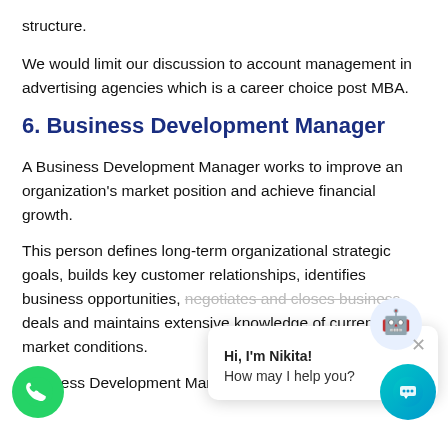structure.
We would limit our discussion to account management in advertising agencies which is a career choice post MBA.
6. Business Development Manager
A Business Development Manager works to improve an organization's market position and achieve financial growth.
This person defines long-term organizational strategic goals, builds key customer relationships, identifies business opportunities, negotiates and closes business deals and maintains extensive knowledge of current market conditions.
Business Development Managers work in a senior sales